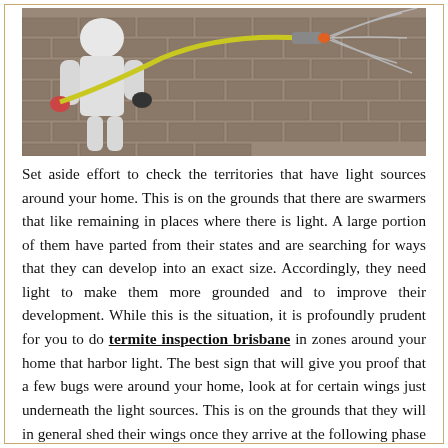[Figure (photo): A pest control worker in a white protective suit spraying chemicals on a brick wall using a yellow hose and spray nozzle with an orange tip.]
Set aside effort to check the territories that have light sources around your home. This is on the grounds that there are swarmers that like remaining in places where there is light. A large portion of them have parted from their states and are searching for ways that they can develop into an exact size. Accordingly, they need light to make them more grounded and to improve their development. While this is the situation, it is profoundly prudent for you to do termite inspection brisbane in zones around your home that harbor light. The best sign that will give you proof that a few bugs were around your home, look at for certain wings just underneath the light sources. This is on the grounds that they will in general shed their wings once they arrive at the following phase of their development necessity.